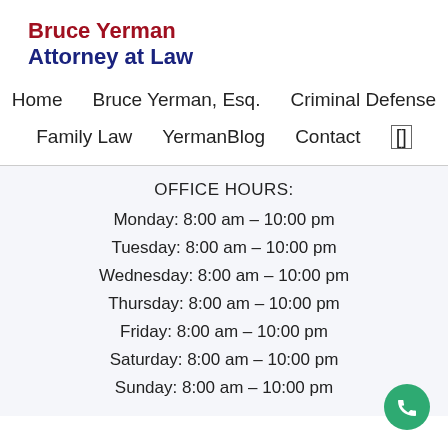Bruce Yerman Attorney at Law
Home   Bruce Yerman, Esq.   Criminal Defense   Family Law   YermanBlog   Contact
OFFICE HOURS:
Monday: 8:00 am – 10:00 pm
Tuesday: 8:00 am – 10:00 pm
Wednesday: 8:00 am – 10:00 pm
Thursday: 8:00 am – 10:00 pm
Friday: 8:00 am – 10:00 pm
Saturday: 8:00 am – 10:00 pm
Sunday: 8:00 am – 10:00 pm